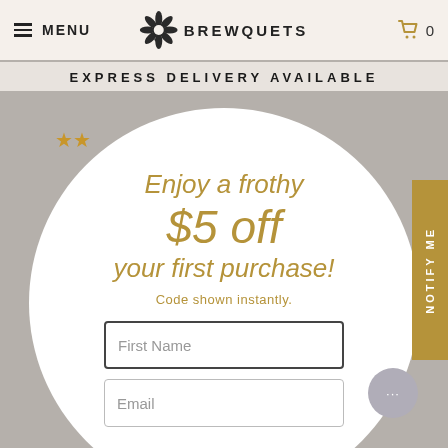MENU | BREWQUETS | 0
EXPRESS DELIVERY AVAILABLE
[Figure (screenshot): Background website page with grey tones and two gold stars visible]
[Figure (infographic): Large white circular modal popup with promotional offer]
Enjoy a frothy $5 off your first purchase!
Code shown instantly.
First Name
Email
NOTIFY ME